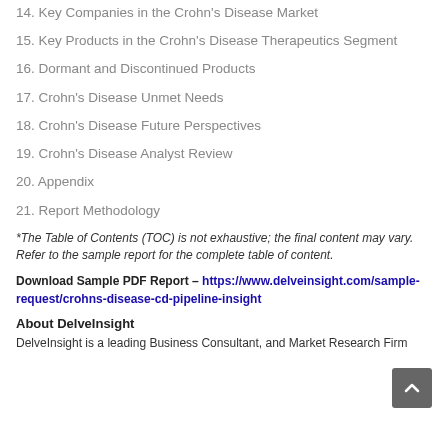14. Key Companies in the Crohn's Disease Market
15. Key Products in the Crohn's Disease Therapeutics Segment
16. Dormant and Discontinued Products
17. Crohn's Disease Unmet Needs
18. Crohn's Disease Future Perspectives
19. Crohn's Disease Analyst Review
20. Appendix
21. Report Methodology
*The Table of Contents (TOC) is not exhaustive; the final content may vary. Refer to the sample report for the complete table of content.
Download Sample PDF Report – https://www.delveinsight.com/sample-request/crohns-disease-cd-pipeline-insight
About DelveInsight
DelveInsight is a leading Business Consultant, and Market Research Firm